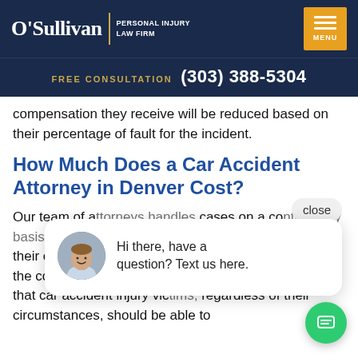O'Sullivan | Personal Injury Law Firm — FREE CONSULTATION (303) 388-5304
compensation they receive will be reduced based on their percentage of fault for the incident.
How Much Does a Car Accident Attorney in Denver Cost?
Our team of attorneys handles cases on a contingency basis, our clients will not pay upfront costs related to their case. We only collect legal fees after we obtain the compensation that our clients deserve. We believe that car accident injury victims, regardless of their circumstances, should be able to
[Figure (screenshot): Chat widget overlay showing a 'close' button and a chat popup with a photo of a man and text 'Hi there, have a question? Text us here.' along with a green chat FAB button.]